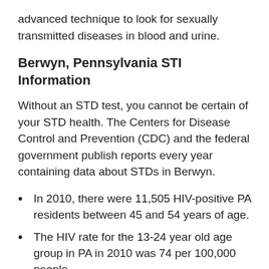advanced technique to look for sexually transmitted diseases in blood and urine.
Berwyn, Pennsylvania STI Information
Without an STD test, you cannot be certain of your STD health. The Centers for Disease Control and Prevention (CDC) and the federal government publish reports every year containing data about STDs in Berwyn.
In 2010, there were 11,505 HIV-positive PA residents between 45 and 54 years of age.
The HIV rate for the 13-24 year old age group in PA in 2010 was 74 per 100,000 people.
22,383 male Pennsylvania residents were HIV-positive at the end of 2010.
At the end of 2010, 36 Native American people were living with HIV in Pennsylvania.